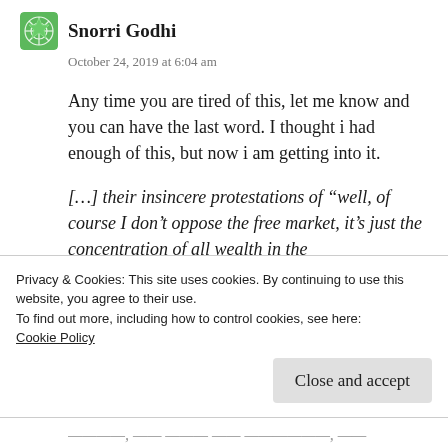Snorri Godhi
October 24, 2019 at 6:04 am
Any time you are tired of this, let me know and you can have the last word. I thought i had enough of this, but now i am getting into it.
[…] their insincere protestations of “well, of course I don’t oppose the free market, it’s just the concentration of all wealth in the
Privacy & Cookies: This site uses cookies. By continuing to use this website, you agree to their use.
To find out more, including how to control cookies, see here:
Cookie Policy
Close and accept
Lastly, to the best of my knowledge, the